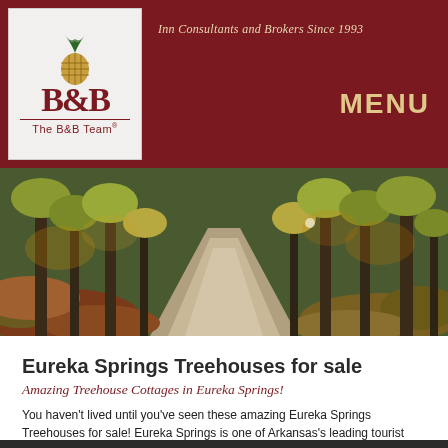Inn Consultants and Brokers Since 1993
[Figure (logo): The B&B Team logo with pineapple illustration and bold B&B lettering]
MENU
[Figure (photo): A winding dirt road through an autumn forest with colorful fall foliage and tall trees]
Eureka Springs Treehouses for sale
Amazing Treehouse Cottages in Eureka Springs!
You haven't lived until you've seen these amazing Eureka Springs Treehouses for sale! Eureka Springs is one of Arkansas's leading tourist attractions and draws visitors from major nearby cities